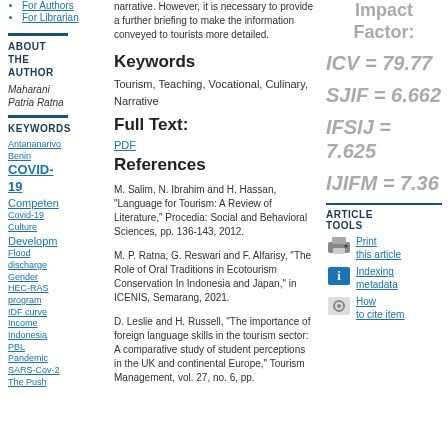For Authors
For Librarian
ABOUT THE AUTHOR
Maharani Patria Ratna
KEYWORDS
Antananarivo
Benin
COVID-19
Competen
Covid-19
Culture
Developm
Flood discharge
Gender
HEC-RAS program
IDF curve
Income
Indonesia
PBL
Pandemic
SARS-Cov-2
The Push
narrative. However, it is necessary to provide a further briefing to make the information conveyed to tourists more detailed.
Keywords
Tourism, Teaching, Vocational, Culinary, Narrative
Full Text:
PDF
References
M. Salim, N. Ibrahim and H. Hassan, "Language for Tourism: A Review of Literature," Procedia: Social and Behavioral Sciences, pp. 136-143, 2012.
M. P. Ratna, G. Reswari and F. Alfarisy, "The Role of Oral Traditions in Ecotourism Conservation In Indonesia and Japan," in ICENIS, Semarang, 2021.
D. Leslie and H. Russell, "The importance of foreign language skills in the tourism sector: A comparative study of student perceptions in the UK and continental Europe," Tourism Management, vol. 27, no. 6, pp.
Impact Factor:
ICV = 79.77
SJIF = 6.662
IFSIJ = 7.625
IJIFM = 7.36
ARTICLE TOOLS
Print this article
Indexing metadata
How to cite item